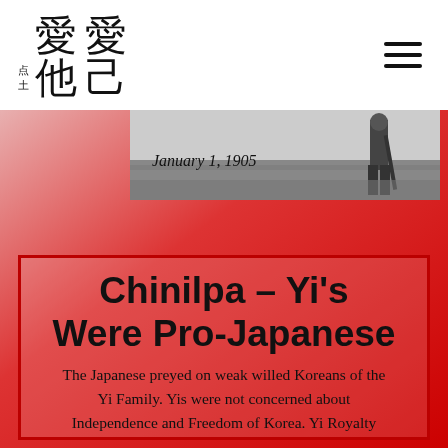愛己 愛他 (logo with small mark)
[Figure (photo): Black and white historical photo showing a person, partially visible, with a date caption 'January 1, 1905']
January 1, 1905
Chinilpa - Yi's Were Pro-Japanese
The Japanese preyed on weak willed Koreans of the Yi Family. Yis were not concerned about Independence and Freedom of Korea. Yi Royalty